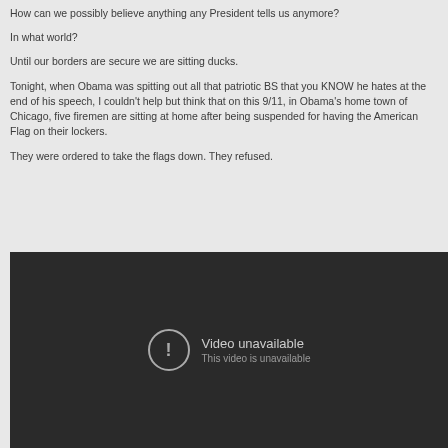How can we possibly believe anything any President tells us anymore?
In what world?
Until our borders are secure we are sitting ducks.
Tonight, when Obama was spitting out all that patriotic BS that you KNOW he hates at the end of his speech, I couldn't help but think that on this 9/11, in Obama's home town of Chicago, five firemen are sitting at home after being suspended for having the American Flag on their lockers.
They were ordered to take the flags down. They refused.
[Figure (screenshot): Embedded video player showing 'Video unavailable - This video is unavailable' error message on dark background]